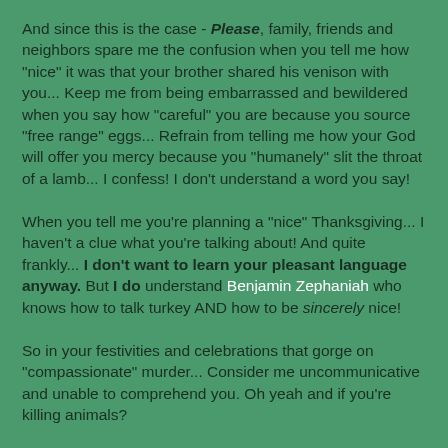And since this is the case - Please, family, friends and neighbors spare me the confusion when you tell me how "nice" it was that your brother shared his venison with you... Keep me from being embarrassed and bewildered when you say how "careful" you are because you source "free range" eggs... Refrain from telling me how your God will offer you mercy because you "humanely" slit the throat of a lamb... I confess!  I don't understand a word you say!
When you tell me you're planning a "nice" Thanksgiving... I haven't a clue what you're talking about!  And quite frankly... I don't want to learn your pleasant language anyway. But I do understand Benjamin Zephaniah who knows how to talk turkey AND how to be sincerely nice!
So in your festivities and celebrations that gorge on "compassionate" murder... Consider me uncommunicative and unable to comprehend you.  Oh yeah and if you're killing animals?